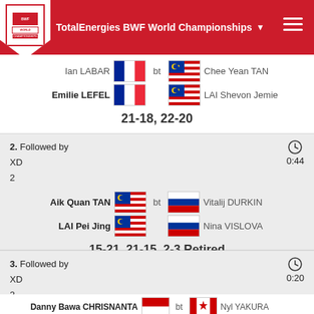TotalEnergies BWF World Championships
Ian LABAR bt Chee Yean TAN
Emilie LEFEL LAI Shevon Jemie
21-18, 22-20
2. Followed by
XD
2
0:44
Aik Quan TAN bt Vitalij DURKIN
LAI Pei Jing Nina VISLOVA
15-21, 21-15, 2-3 Retired
3. Followed by
XD
2
0:20
Danny Bawa CHRISNANTA bt Nyl YAKURA